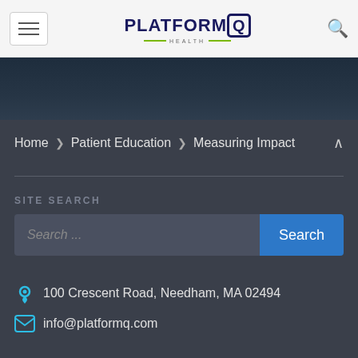[Figure (logo): PlatformQ Health logo with hamburger menu and search icon in the header bar]
[Figure (photo): Dark photo strip banner image]
Home > Patient Education > Measuring Impact
SITE SEARCH
Search ...
100 Crescent Road, Needham, MA 02494
info@platformq.com